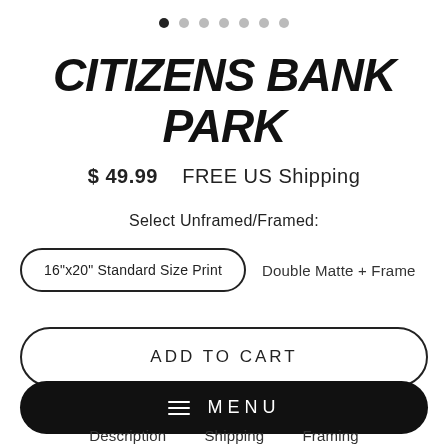[Figure (other): Pagination dots row: one filled black dot followed by six light gray dots]
CITIZENS BANK PARK
$ 49.99   FREE US Shipping
Select Unframed/Framed:
16"x20" Standard Size Print
Double Matte + Frame
ADD TO CART
≡  MENU
Description   Shipping   Framing